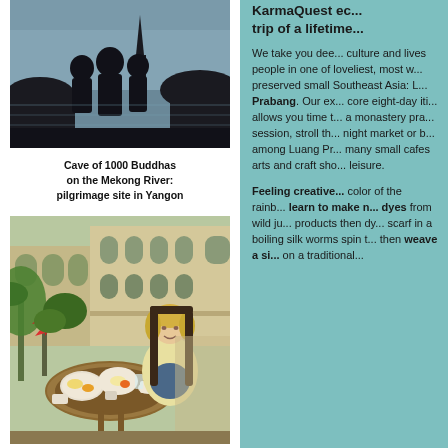[Figure (photo): Silhouette of Buddha statues against a river and spire at dusk - Cave of 1000 Buddhas on the Mekong River]
Cave of 1000 Buddhas on the Mekong River: pilgrimage site in Yangon
[Figure (photo): Woman sitting at a table on a balcony with breakfast, tropical plants and colonial building in background - Luang Prabang cafe]
KarmaQuest ec... trip of a lifetime...
We take you dee... culture and lives people in one of loveliest, most w... preserved small Southeast Asia: L... Prabang. Our ex... core eight-day iti... allows you time t... a monastery pra... session, stroll th... night market or b... among Luang Pr... many small cafes arts and craft sho... leisure.
Feeling creative... color of the rainb... learn to make n... dyes from wild ju... products then dy... scarf in a boiling silk worms spin t... then weave a si... on a traditional...